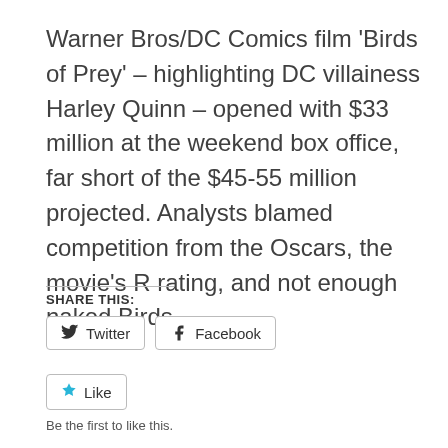Warner Bros/DC Comics film 'Birds of Prey' – highlighting DC villainess Harley Quinn – opened with $33 million at the weekend box office, far short of the $45-55 million projected. Analysts blamed competition from the Oscars, the movie's R rating, and not enough naked Birds.
SHARE THIS:
Twitter
Facebook
Like
Be the first to like this.